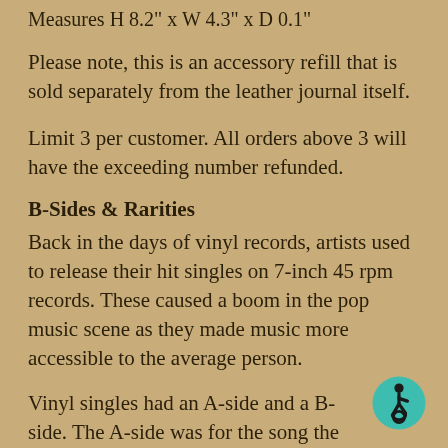Measures H 8.2" x W 4.3" x D 0.1"
Please note, this is an accessory refill that is sold separately from the leather journal itself.
Limit 3 per customer. All orders above 3 will have the exceeding number refunded.
B-Sides & Rarities
Back in the days of vinyl records, artists used to release their hit singles on 7-inch 45 rpm records. These caused a boom in the pop music scene as they made music more accessible to the average person.
Vinyl singles had an A-side and a B-side. The A-side was for the song the artist was hoping would be a hit, and artists poured all of the